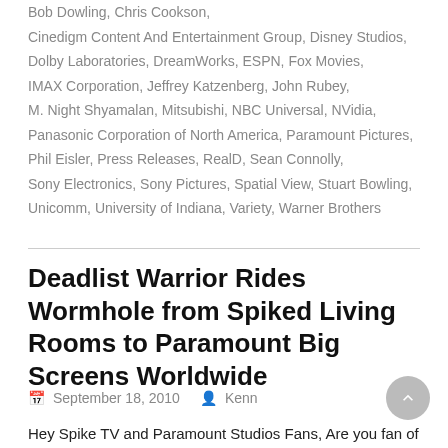Bob Dowling, Chris Cookson, Cinedigm Content And Entertainment Group, Disney Studios, Dolby Laboratories, DreamWorks, ESPN, Fox Movies, IMAX Corporation, Jeffrey Katzenberg, John Rubey, M. Night Shyamalan, Mitsubishi, NBC Universal, NVidia, Panasonic Corporation of North America, Paramount Pictures, Phil Eisler, Press Releases, RealD, Sean Connolly, Sony Electronics, Sony Pictures, Spatial View, Stuart Bowling, Unicomm, University of Indiana, Variety, Warner Brothers
Deadlist Warrior Rides Wormhole from Spiked Living Rooms to Paramount Big Screens Worldwide
September 18, 2010   Kenn
Hey Spike TV and Paramount Studios Fans, Are you fan of history? Do you love movies? Do you have a favorite